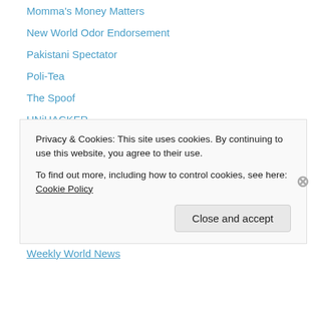Momma's Money Matters
New World Odor Endorsement
Pakistani Spectator
Poli-Tea
The Spoof
UNiHACKER
Yoyo-Dyne Propulsion Labs – Reno Division
news
The Onion – America's Finest News Source
The Spoof -Spoof News Headlines
Weekly World News
Privacy & Cookies: This site uses cookies. By continuing to use this website, you agree to their use.
To find out more, including how to control cookies, see here: Cookie Policy
Close and accept